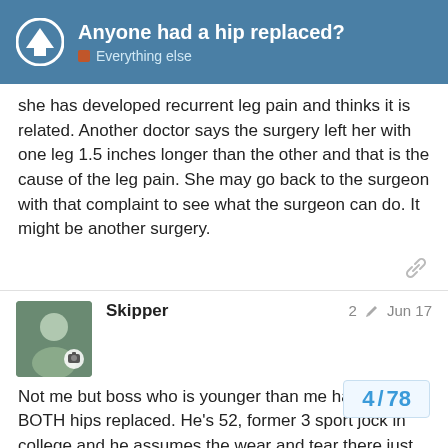Anyone had a hip replaced? — Everything else
she has developed recurrent leg pain and thinks it is related. Another doctor says the surgery left her with one leg 1.5 inches longer than the other and that is the cause of the leg pain. She may go back to the surgeon with that complaint to see what the surgeon can do. It might be another surgery.
Skipper   2 ✏  Jun 17
Not me but boss who is younger than me has had BOTH hips replaced. He's 52, former 3 sport jock in college and he assumes the wear and tear there just slowly took it's toll over time. He had his first replaced about 4 years ago and the second replaced this year. He offered this advice:
There are multiple methods of hip replacem...
to your doc/surgeon about how physical yo...
4 / 78